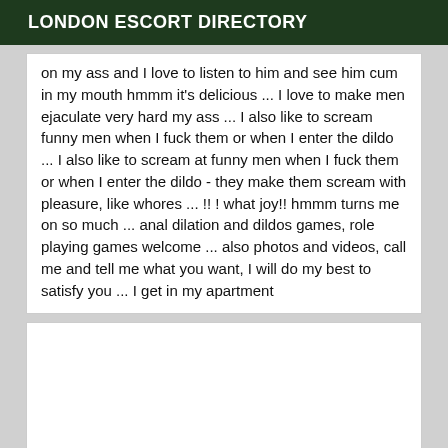LONDON ESCORT DIRECTORY
on my ass and I love to listen to him and see him cum in my mouth hmmm it's delicious ... I love to make men ejaculate very hard my ass ... I also like to scream funny men when I fuck them or when I enter the dildo ... I also like to scream at funny men when I fuck them or when I enter the dildo - they make them scream with pleasure, like whores ... !! ! what joy!! hmmm turns me on so much ... anal dilation and dildos games, role playing games welcome ... also photos and videos, call me and tell me what you want, I will do my best to satisfy you ... I get in my apartment
[Figure (other): Empty white box, likely placeholder for an image]